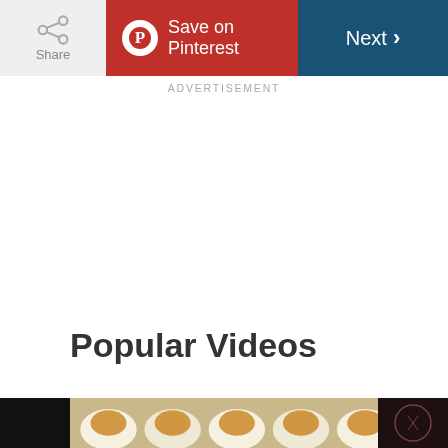Share | Save on Pinterest | Next
ADVERTISEMENT
Popular Videos
[Figure (photo): Video thumbnail strip showing food images (deviled eggs with toppings) against dark background]